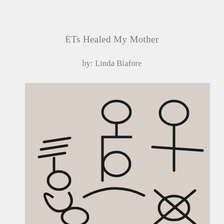ETs Healed My Mother
by: Linda Biafore
[Figure (illustration): A beige/tan background with several abstract black hand-drawn symbols or glyphs resembling stylized figures, loops, ovals, and geometric shapes arranged across the image. The symbols appear to be alien or esoteric script-like characters drawn with thick black marker strokes.]